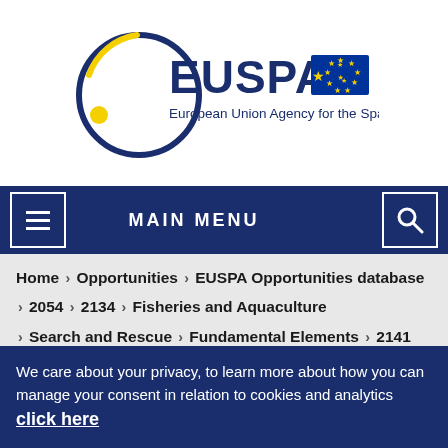[Figure (logo): EUSPA logo — European Union Agency for the Space Programme, with circular orbit graphic and EU flag]
MAIN MENU
Home > Opportunities > EUSPA Opportunities database > 2054 > 2134 > Fisheries and Aquaculture > Search and Rescue > Fundamental Elements > 2141 > Road > Aviation
We care about your privacy, to learn more about how you can manage your consent in relation to cookies and analytics click here